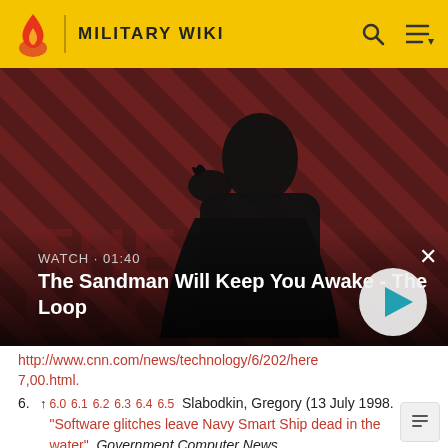MILITARY WIKI
[Figure (screenshot): Video thumbnail with dark-robed figure and raven on red striped background, labeled 'The Sandman Will Keep You Awake - The Loop', WATCH · 01:40, with play button]
http://www.cnn.com/news/technology/6/202/here7,00.html.
6. ↑ 6.0 6.1 6.2 6.3 6.4 6.5 Slabodkin, Gregory (13 July 1998. "Software glitches leave Navy Smart Ship dead in the water". Government Computer News. http://gcn.com/Articles/1998/07/13/Software-